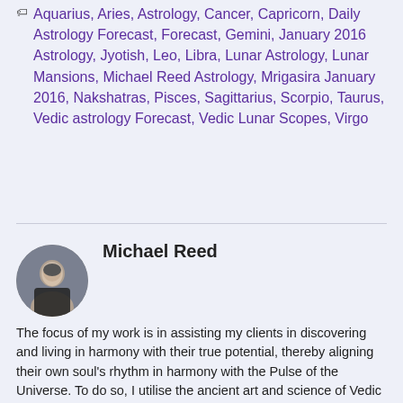Tags: Aquarius, Aries, Astrology, Cancer, Capricorn, Daily Astrology Forecast, Forecast, Gemini, January 2016 Astrology, Jyotish, Leo, Libra, Lunar Astrology, Lunar Mansions, Michael Reed Astrology, Mrigasira January 2016, Nakshatras, Pisces, Sagittarius, Scorpio, Taurus, Vedic astrology Forecast, Vedic Lunar Scopes, Virgo
[Figure (photo): Circular portrait photo of Michael Reed, a man in a dark shirt]
Michael Reed
The focus of my work is in assisting my clients in discovering and living in harmony with their true potential, thereby aligning their own soul's rhythm in harmony with the Pulse of the Universe. To do so, I utilise the ancient art and science of Vedic Astrology, also known as Jyotish. As a Counseling Astrologer with over twenty-five years of experience in the astrological field, I have shared my gift with